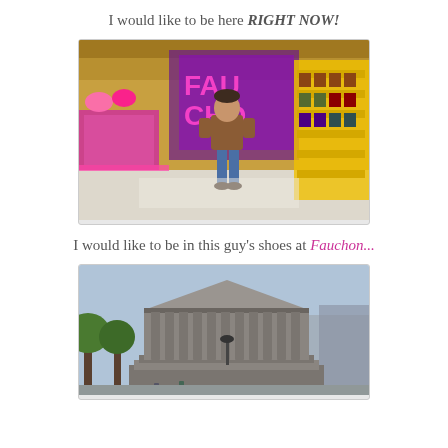I would like to be here RIGHT NOW!
[Figure (photo): Interior of a colorful shop (Fauchon), with pink and purple neon lighting, shelves of products, and a man standing in the center looking around.]
I would like to be in this guy's shoes at Fauchon...
[Figure (photo): Exterior of the Madeleine church in Paris, a neoclassical building with large columns, trees in front, and people on the street.]